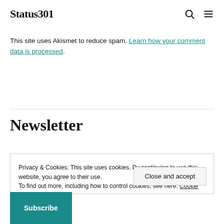Status301
This site uses Akismet to reduce spam. Learn how your comment data is processed.
Newsletter
Privacy & Cookies: This site uses cookies. By continuing to use this website, you agree to their use.
To find out more, including how to control cookies, see here: Cookie Policy
Close and accept
Subscribe